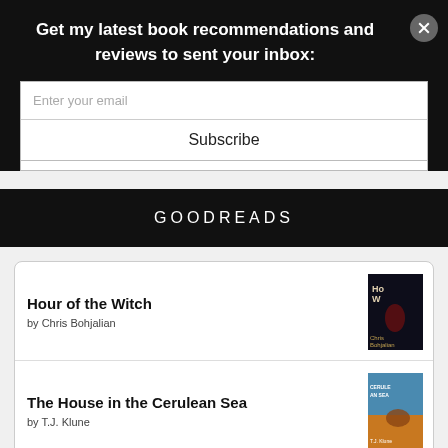Get my latest book recommendations and reviews to sent your inbox:
Enter your email
Subscribe
GOODREADS
Hour of the Witch
by Chris Bohjalian
The House in the Cerulean Sea
by T.J. Klune